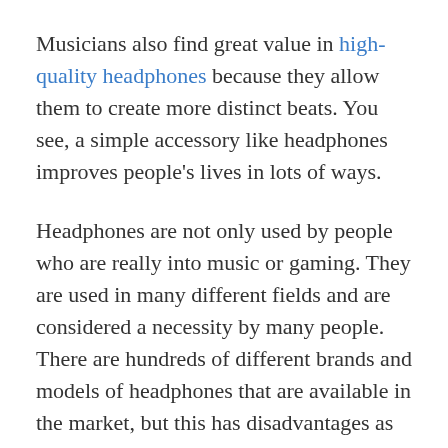Musicians also find great value in high-quality headphones because they allow them to create more distinct beats. You see, a simple accessory like headphones improves people's lives in lots of ways.
Headphones are not only used by people who are really into music or gaming. They are used in many different fields and are considered a necessity by many people. There are hundreds of different brands and models of headphones that are available in the market, but this has disadvantages as well as advantages.
Having lots of options is good because it means that there's a model for every possible customer need. But it also makes it really hard to choose